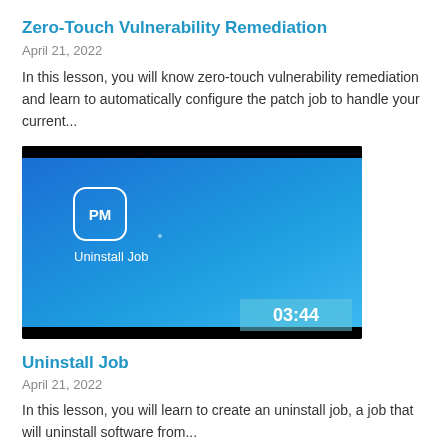Zero-Touch Vulnerability Remediation
April 21, 2022
In this lesson, you will know zero-touch vulnerability remediation and learn to automatically configure the patch job to handle your current...
[Figure (screenshot): Video thumbnail showing a blue gradient screen with a white-outlined rounded square icon labeled 'PM' and text 'Uninstall Job' below it. A timestamp overlay '03:44' appears in the lower right corner.]
Uninstall Job
April 21, 2022
In this lesson, you will learn to create an uninstall job, a job that will uninstall software from...